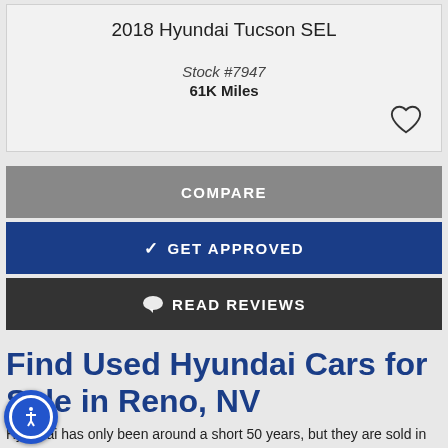2018 Hyundai Tucson SEL
Stock #7947
61K Miles
COMPARE
✓ GET APPROVED
💬 READ REVIEWS
Find Used Hyundai Cars for Sale in Reno, NV
Hyundai has only been around a short 50 years, but they are sold in 193 countries and counting! They hit the ground